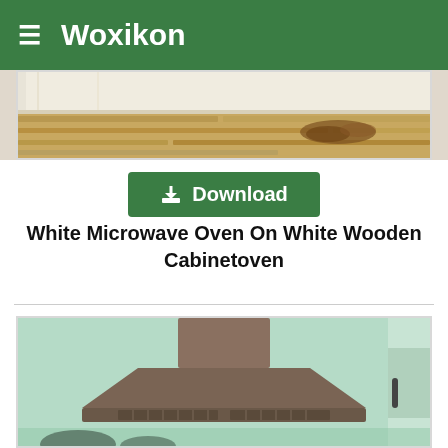Woxikon
[Figure (photo): Partial view of a white microwave oven on a white wooden cabinet with wooden floor visible]
Download
White Microwave Oven On White Wooden Cabinetoven
[Figure (photo): Kitchen range hood (chimney extractor fan) mounted above a stovetop against a mint green / light teal wall, in a modern kitchen]